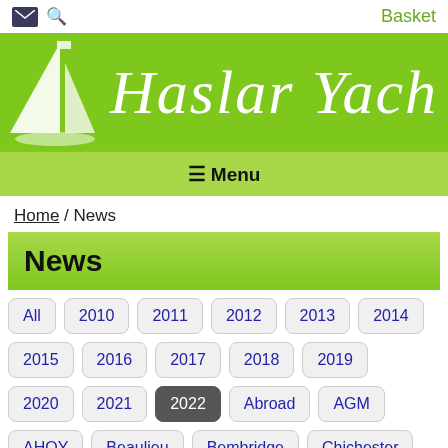Haslar Yacht Club
≡ Menu
Home / News
News
All
2010
2011
2012
2013
2014
2015
2016
2017
2018
2019
2020
2021
2022
Abroad
AGM
AHOY
Beaulieu
Bembridge
Chichester
Cowes
Folly Inn
Island Harbour